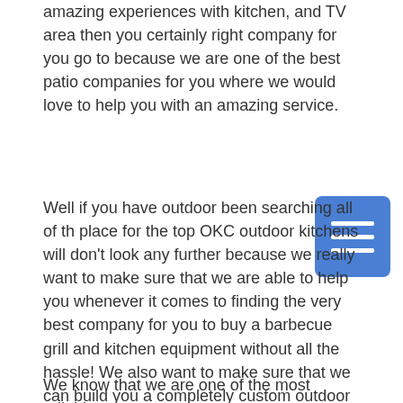amazing experiences with kitchen, and TV area then you certainly right company for you go to because we are one of the best patio companies for you where we would love to help you with an amazing service.
Well if you have outdoor been searching all of the place for the top OKC outdoor kitchens will don't look any further because we really want to make sure that we are able to help you whenever it comes to finding the very best company for you to buy a barbecue grill and kitchen equipment without all the hassle! We also want to make sure that we can build you a completely custom outdoor area for you and your family to go and relax in fact we are one of the most reliable companies for this and we want to make sure that we are able to help you so little bit more about us!
We know that we are one of the most reliable